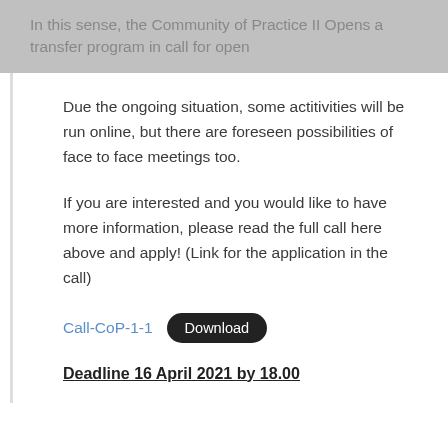In this sense, the Community of Practice II Opens a transfer program in call for open
Due the ongoing situation, some actitivities will be run online, but there are foreseen possibilities of face to face meetings too.
If you are interested and you would like to have more information, please read the full call here above and apply! (Link for the application in the call)
Call-CoP-1-1   Download
Deadline 16 April 2021 by 18.00